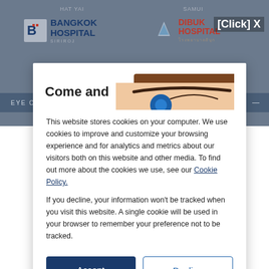[Figure (screenshot): Bangkok Hospital Hat Yai and Dibuk Hospital Samui logos on grey background with Eye Centre navigation bar. A popup cookie consent dialog overlays the page. Top right shows [Click] X button.]
Come and
This website stores cookies on your computer. We use cookies to improve and customize your browsing experience and for analytics and metrics about our visitors both on this website and other media. To find out more about the cookies we use, see our Cookie Policy.
If you decline, your information won't be tracked when you visit this website. A single cookie will be used in your browser to remember your preference not to be tracked.
Accept
Decline